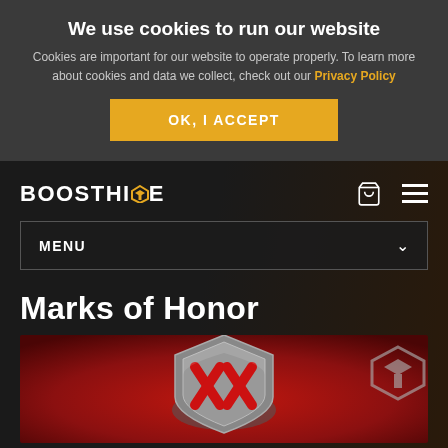We use cookies to run our website
Cookies are important for our website to operate properly. To learn more about cookies and data we collect, check out our Privacy Policy
OK, I ACCEPT
[Figure (logo): BOOSTHIVE logo with yellow arrow icon replacing letter I]
[Figure (screenshot): Navigation bar with cart icon and hamburger menu icon]
MENU
Marks of Honor
[Figure (photo): Marks of Honor product image on red background showing a metallic shield/badge with red X marks and BoostHive watermark logo in top right corner]